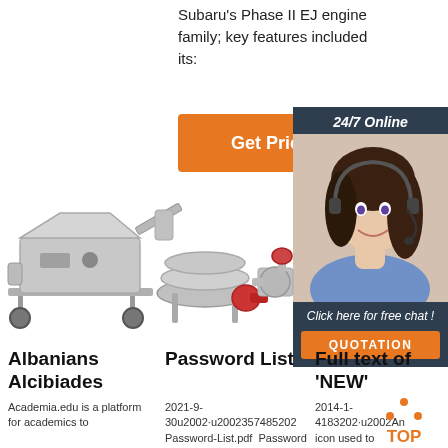Subaru's Phase II EJ engine family; key features included its:
[Figure (other): Orange 'Get Price' button]
[Figure (other): 24/7 Online support sidebar with photo of woman with headset, 'Click here for free chat!' text, and orange QUOTATION button]
[Figure (photo): Industrial food processing machinery - grinder/mixer on left, vibratory sieve in center, pump/valve on right]
Albanians Alcibiades
Password List
Full text of 'NEW'
Academia.edu is a platform for academics to
2021-9-30u2002·u2002357485202 Password-List.pdf  Password
2014-1-4183202·u2002An icon used to
[Figure (logo): TOP logo with orange triangle/chevron icon above orange TOP text]